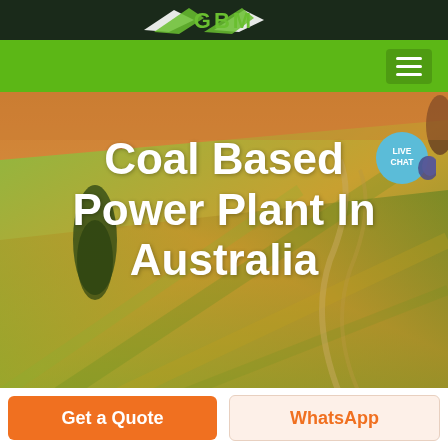[Figure (logo): GBM company logo with stylized arrow/wings graphic in white on dark green header bar]
[Figure (photo): Aerial view of farmland with rolling green and golden fields, a cypress tree on the left, winding dirt paths through crop rows, warm sunset tones]
Coal Based Power Plant In Australia
Get a Quote
WhatsApp
LIVE CHAT